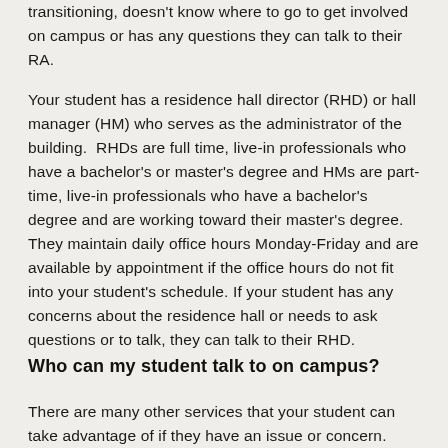transitioning, doesn't know where to go to get involved on campus or has any questions they can talk to their RA.
Your student has a residence hall director (RHD) or hall manager (HM) who serves as the administrator of the building. RHDs are full time, live-in professionals who have a bachelor's or master's degree and HMs are part-time, live-in professionals who have a bachelor's degree and are working toward their master's degree. They maintain daily office hours Monday-Friday and are available by appointment if the office hours do not fit into your student's schedule. If your student has any concerns about the residence hall or needs to ask questions or to talk, they can talk to their RHD.
Who can my student talk to on campus?
There are many other services that your student can take advantage of if they have an issue or concern.